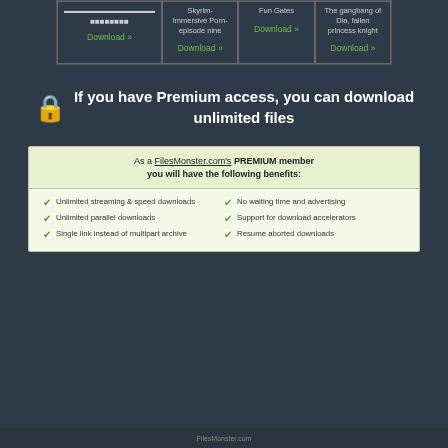[Figure (screenshot): Top grid of 4 download cells with titles and green Download links]
If you have Premium access, you can download unlimited files
As a FilesMonster.com's PREMIUM member you will have the following benefits:
Unlimited streaming & speed downloads
Unlimited parallel downloads
Single link instead of multipart archive
No waiting time and advertising
Support for download accelerators
Resume aborted downloads